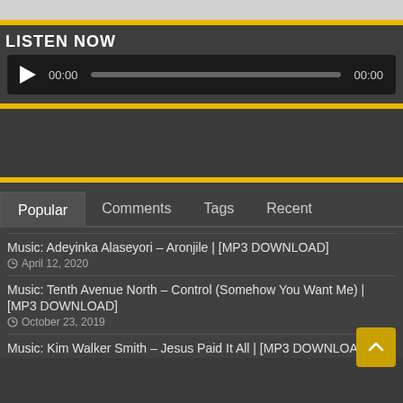[Figure (screenshot): Top image bar (light gray)]
LISTEN NOW
[Figure (other): Audio player with play button, time 00:00, progress bar, and duration 00:00]
[Figure (other): Advertisement/empty gray section]
Popular  Comments  Tags  Recent
Music: Adeyinka Alaseyori – Aronjile | [MP3 DOWNLOAD]
April 12, 2020
Music: Tenth Avenue North – Control (Somehow You Want Me) | [MP3 DOWNLOAD]
October 23, 2019
Music: Kim Walker Smith – Jesus Paid It All | [MP3 DOWNLOAD]